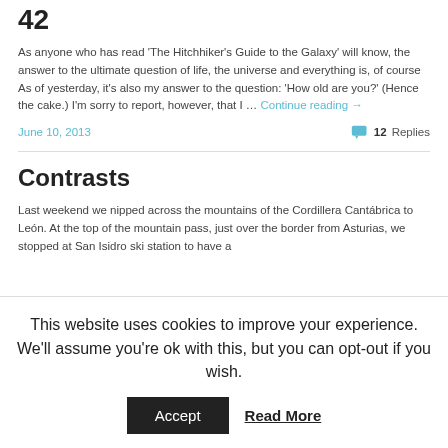42
As anyone who has read 'The Hitchhiker's Guide to the Galaxy' will know, the answer to the ultimate question of life, the universe and everything is, of course As of yesterday, it's also my answer to the question: 'How old are you?' (Hence the cake.) I'm sorry to report, however, that I … Continue reading →
June 10, 2013    12 Replies
Contrasts
Last weekend we nipped across the mountains of the Cordillera Cantábrica to León. At the top of the mountain pass, just over the border from Asturias, we stopped at San Isidro ski station to have a
This website uses cookies to improve your experience. We'll assume you're ok with this, but you can opt-out if you wish. Accept  Read More